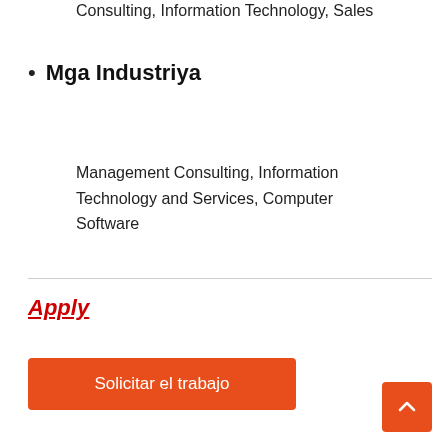Consulting, Information Technology, Sales
Mga Industriya
Management Consulting, Information Technology and Services, Computer Software
Apply
Solicitar el trabajo